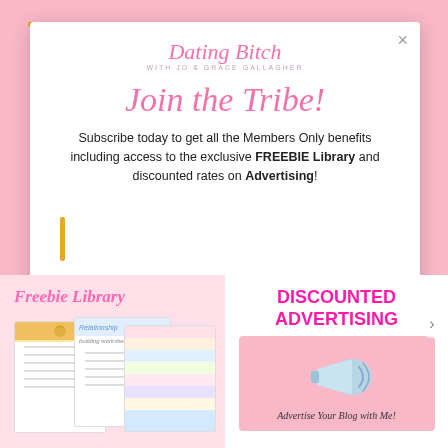[Figure (screenshot): Screenshot of a blog website newsletter signup modal popup on a pink background. The modal shows the Dating Bitch logo, a 'Join the Tribe!' heading, subscription text, and two bottom panels: Freebie Library (with worksheet images) and Discounted Advertising (with megaphone image).]
Join the Tribe!
Subscribe today to get all the Members Only benefits including access to the exclusive FREEBIE Library and discounted rates on Advertising!
Freebie Library
DISCOUNTED ADVERTISING
Advertise Your Blog with Me!